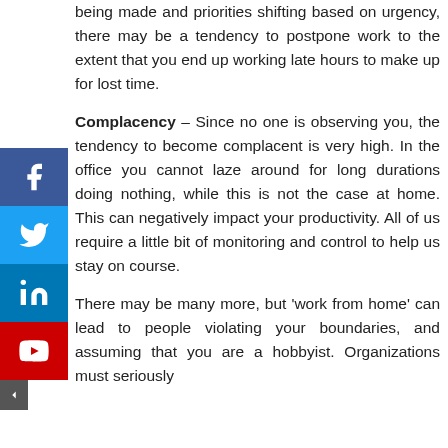being made and priorities shifting based on urgency, there may be a tendency to postpone work to the extent that you end up working late hours to make up for lost time.
Complacency – Since no one is observing you, the tendency to become complacent is very high. In the office you cannot laze around for long durations doing nothing, while this is not the case at home. This can negatively impact your productivity. All of us require a little bit of monitoring and control to help us stay on course.
There may be many more, but 'work from home' can lead to people violating your boundaries, and assuming that you are a hobbyist. Organizations must seriously